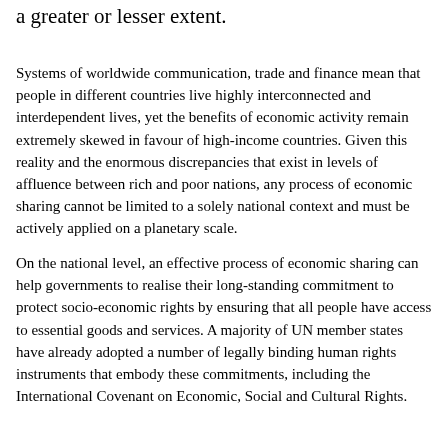a greater or lesser extent.
Systems of worldwide communication, trade and finance mean that people in different countries live highly interconnected and interdependent lives, yet the benefits of economic activity remain extremely skewed in favour of high-income countries. Given this reality and the enormous discrepancies that exist in levels of affluence between rich and poor nations, any process of economic sharing cannot be limited to a solely national context and must be actively applied on a planetary scale.
On the national level, an effective process of economic sharing can help governments to realise their long-standing commitment to protect socio-economic rights by ensuring that all people have access to essential goods and services. A majority of UN member states have already adopted a number of legally binding human rights instruments that embody these commitments, including the International Covenant on Economic, Social and Cultural Rights.